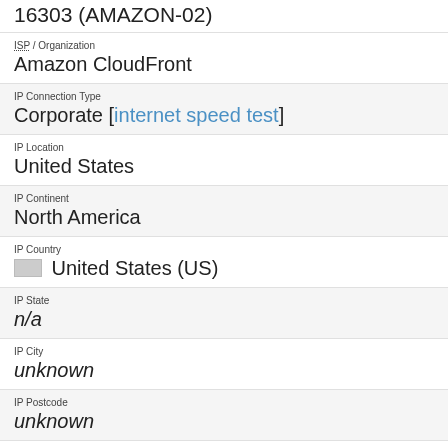16303 (AMAZON-02)
ISP / Organization
Amazon CloudFront
IP Connection Type
Corporate [internet speed test]
IP Location
United States
IP Continent
North America
IP Country
🏳 United States (US)
IP State
n/a
IP City
unknown
IP Postcode
unknown